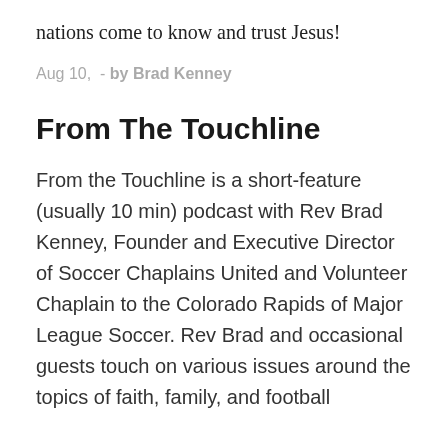nations come to know and trust Jesus!
Aug 10,  - by Brad Kenney
From The Touchline
From the Touchline is a short-feature (usually 10 min) podcast with Rev Brad Kenney, Founder and Executive Director of Soccer Chaplains United and Volunteer Chaplain to the Colorado Rapids of Major League Soccer. Rev Brad and occasional guests touch on various issues around the topics of faith, family, and football